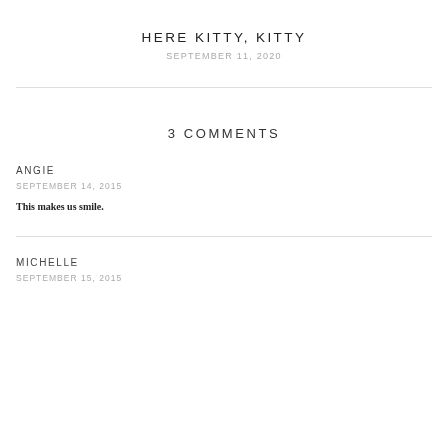HERE KITTY, KITTY
SEPTEMBER 11, 2020
3 COMMENTS
ANGIE
SEPTEMBER 14, 2015
This makes us smile.
MICHELLE
SEPTEMBER 15, 2015